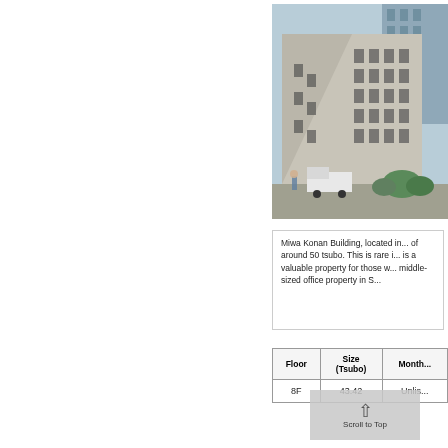[Figure (photo): Exterior photograph of Miwa Konan Building – a multi-storey concrete office building on a street corner, with greenery at base and another high-rise visible behind it.]
Miwa Konan Building, located in...of around 50 tsubo. This is rare i...is a valuable property for those w...middle-sized office property in S...
| Floor | Size (Tsubo) | Month... |
| --- | --- | --- |
| 8F | 43.42 | Unlis... |